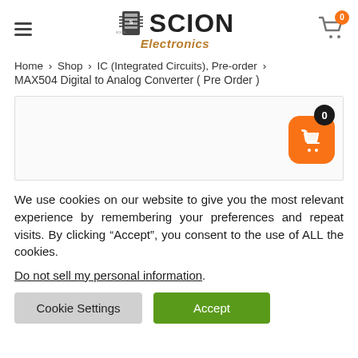[Figure (logo): Scion Electronics logo with hamburger menu icon and shopping cart with badge showing 0]
Home > Shop > IC (Integrated Circuits), Pre-order > MAX504 Digital to Analog Converter ( Pre Order )
[Figure (screenshot): Product image placeholder box with floating orange shopping cart button and black badge showing 0]
We use cookies on our website to give you the most relevant experience by remembering your preferences and repeat visits. By clicking “Accept”, you consent to the use of ALL the cookies.
Do not sell my personal information.
Cookie Settings
Accept